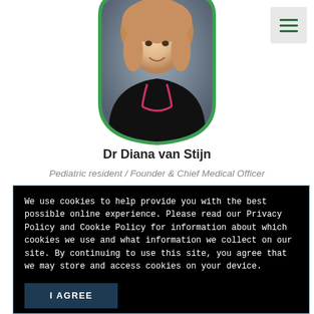[Figure (photo): Profile photo of Dr Diana van Stijn, a young woman with blonde hair, smiling, wearing a black top with a stethoscope, framed in a rounded shape with a green border]
Dr Diana van Stijn
Pediatric resident / Founder & Chief Medical Officer
We use cookies to help provide you with the best possible online experience. Please read our Privacy Policy and Cookie Policy for information about which cookies we use and what information we collect on our site. By continuing to use this site, you agree that we may store and access cookies on your device.
I AGREE